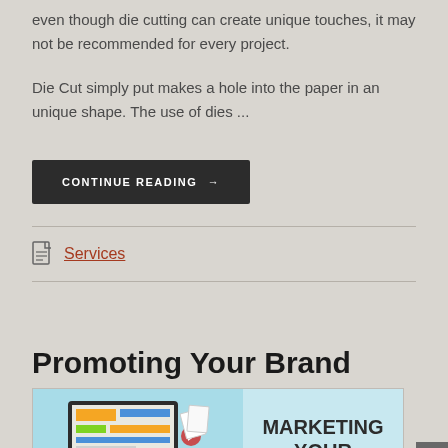even though die cutting can create unique touches, it may not be recommended for every project.
Die Cut simply put makes a hole into the paper in an unique shape. The use of dies ...
CONTINUE READING →
Services
Promoting Your Brand
[Figure (illustration): Marketing illustration showing a tablet/laptop with website designs and text 'MARKETING YOUR' on the right side]